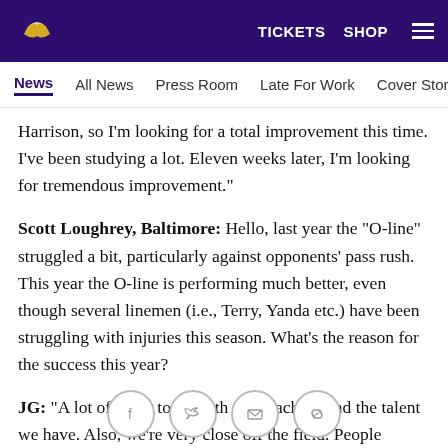TICKETS  SHOP
News  All News  Press Room  Late For Work  Cover Story  Soc
Harrison, so I'm looking for a total improvement this time. I've been studying a lot. Eleven weeks later, I'm looking for tremendous improvement."
Scott Loughrey, Baltimore: Hello, last year the "O-line" struggled a bit, particularly against opponents' pass rush. This year the O-line is performing much better, even though several linemen (i.e., Terry, Yanda etc.) have been struggling with injuries this season. What's the reason for the success this year?
JG: "A lot of it has to do with the coaching and the talent we have. Also, we're very close off the field. People